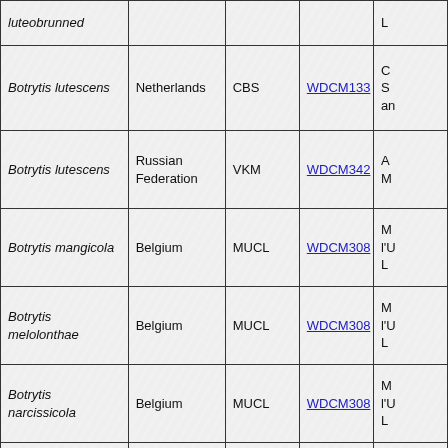| Species | Country | Collection | WDCM | Notes |
| --- | --- | --- | --- | --- |
| luteobrunned (partial) |  |  |  | L… |
| Botrytis lutescens | Netherlands | CBS | WDCM133 | C… So… an… |
| Botrytis lutescens | Russian Federation | VKM | WDCM342 | A… M… |
| Botrytis mangicola | Belgium | MUCL | WDCM308 | M… l'U… L… |
| Botrytis melolonthae | Belgium | MUCL | WDCM308 | M… l'U… L… |
| Botrytis narcissicola | Belgium | MUCL | WDCM308 | M… l'U… L… |
| Botrytis nebularis | Belgium | MUCL | WDCM308 | M… l'U… L… |
| Botrytis paeoniae | Belgium | MUCL | WDCM308 | M… l'U… L… |
| (partial) | (partial) | (partial) | (partial) | C… |